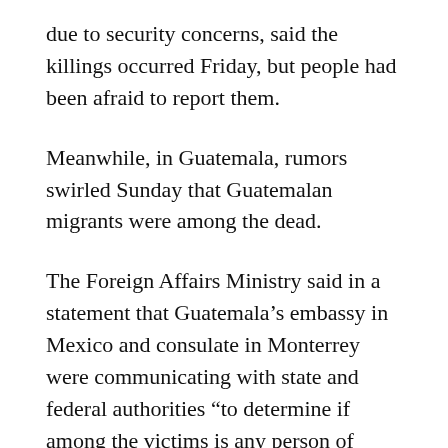due to security concerns, said the killings occurred Friday, but people had been afraid to report them.
Meanwhile, in Guatemala, rumors swirled Sunday that Guatemalan migrants were among the dead.
The Foreign Affairs Ministry said in a statement that Guatemala’s embassy in Mexico and consulate in Monterrey were communicating with state and federal authorities “to determine if among the victims is any person of Guatemalan nationality.” It said they had activated consular aid protocols.